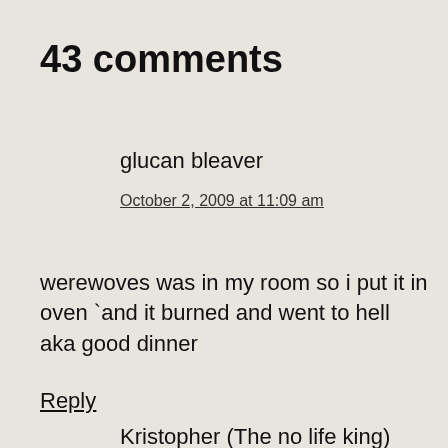43 comments
glucan bleaver
October 2, 2009 at 11:09 am
werewoves was in my room so i put it in oven `and it burned and went to hell aka good dinner
Reply
Kristopher (The no life king)